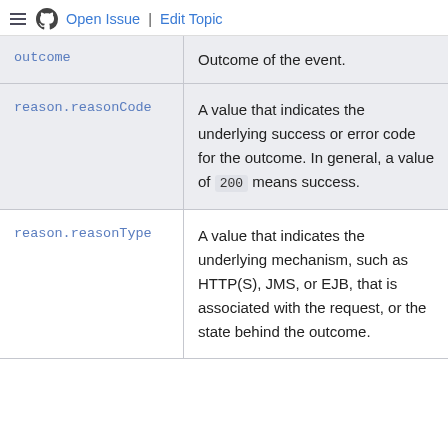Open Issue | Edit Topic
| Field | Description |
| --- | --- |
| outcome | Outcome of the event. |
| reason.reasonCode | A value that indicates the underlying success or error code for the outcome. In general, a value of 200 means success. |
| reason.reasonType | A value that indicates the underlying mechanism, such as HTTP(S), JMS, or EJB, that is associated with the request, or the state behind the outcome. |